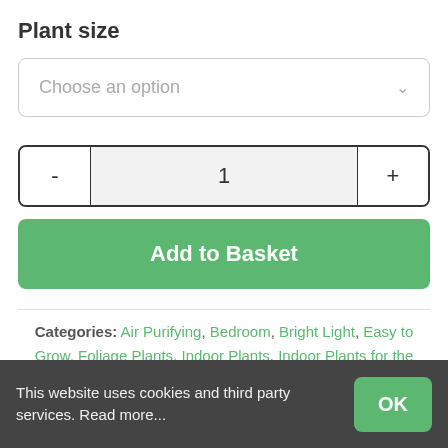Plant size
Choose an option
- 1 +
Add to Basket
Categories: Air Purifying, Bedroom, Bright Light, Easy to Grow, Foliage Plants, Indoor Plants, Indoor Plants for the Bathroom, Indoor Plants for the Kitchen, Indoor
This website uses cookies and third party services. Read more...
OK